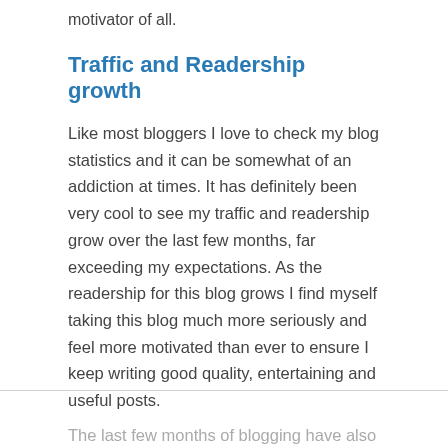motivator of all.
Traffic and Readership growth
Like most bloggers I love to check my blog statistics and it can be somewhat of an addiction at times. It has definitely been very cool to see my traffic and readership grow over the last few months, far exceeding my expectations. As the readership for this blog grows I find myself taking this blog much more seriously and feel more motivated than ever to ensure I keep writing good quality, entertaining and useful posts.
The last few months of blogging have also